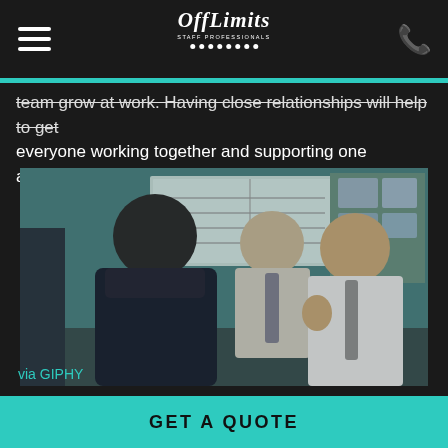OffLimits Staff Professionals
team grow at work. Having close relationships will help to get everyone working together and supporting one another.
[Figure (photo): Scene from The Office TV show with three characters in an office setting — a large man in a leather jacket on the left, a heavy-set man in a suit and tie in the background, and a shorter man in a white dress shirt and tie on the right making a gesture.]
via GIPHY
GET A QUOTE